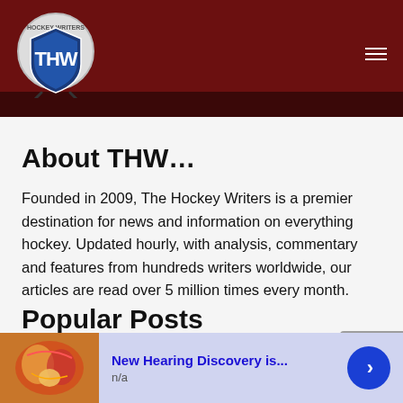THW - The Hockey Writers
About THW…
Founded in 2009, The Hockey Writers is a premier destination for news and information on everything hockey. Updated hourly, with analysis, commentary and features from hundreds writers worldwide, our articles are read over 5 million times every month.
Popular Posts
Salary Cap Information
[Figure (infographic): Advertisement banner: New Hearing Discovery is... n/a, with anatomical image and blue arrow button]